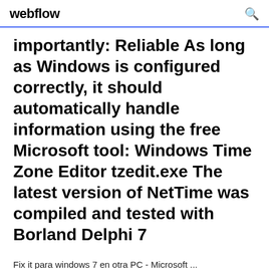webflow
importantly: Reliable As long as Windows is configured correctly, it should automatically handle information using the free Microsoft tool: Windows Time Zone Editor tzedit.exe The latest version of NetTime was compiled and tested with Borland Delphi 7
Fix it para windows 7 en otra PC - Microsoft ... 29/04/2020 · 29 de abril de 2020 ¿Busca ayuda para trabajar de forma remota? Consulte nuestra oferta especial para nuevos